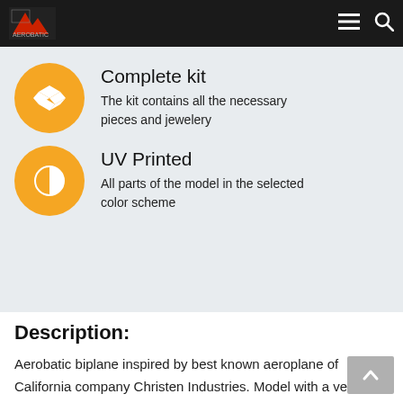Navigation bar with logo and menu/search icons
Complete kit
The kit contains all the necessary pieces and jewelery
UV Printed
All parts of the model in the selected color scheme
Description:
Aerobatic biplane inspired by best known aeroplane of California company Christen Industries. Model with a very realistic, dynamic appearance and attractive graphic design by airbrush technology. The plane is produced by CNC technology from EPP foam. This